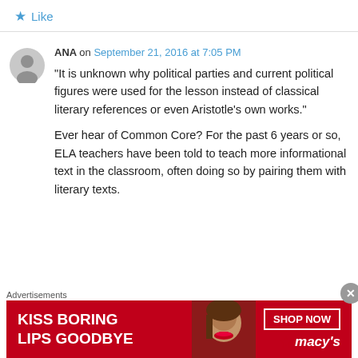★ Like
ANA on September 21, 2016 at 7:05 PM
“It is unknown why political parties and current political figures were used for the lesson instead of classical literary references or even Aristotle’s own works.”
Ever hear of Common Core? For the past 6 years or so, ELA teachers have been told to teach more informational text in the classroom, often doing so by pairing them with literary texts.
Advertisements
[Figure (infographic): Macy's advertisement banner: 'KISS BORING LIPS GOODBYE' with SHOP NOW button and Macy's logo, red background with model photo]